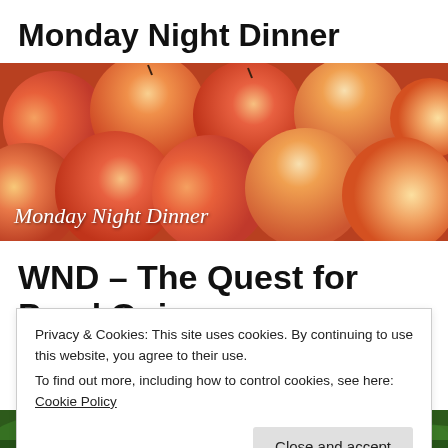Monday Night Dinner
[Figure (photo): Banner photo of peaches/nectarines with text overlay 'Monday Night Dinner' in white italic]
WND – The Quest for Pearl Onions
Privacy & Cookies: This site uses cookies. By continuing to use this website, you agree to their use.
To find out more, including how to control cookies, see here: Cookie Policy
Close and accept
[Figure (photo): Bottom strip of a photo showing green leaves/vegetables]